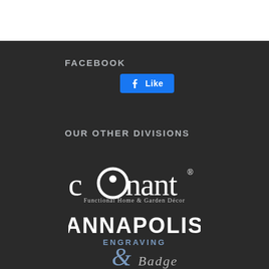FACEBOOK
[Figure (other): Facebook Like button]
OUR OTHER DIVISIONS
[Figure (logo): Conant Functional Home & Garden Décor logo]
[Figure (logo): Annapolis Engraving & Badge - A Division of Weems & Plath logo]